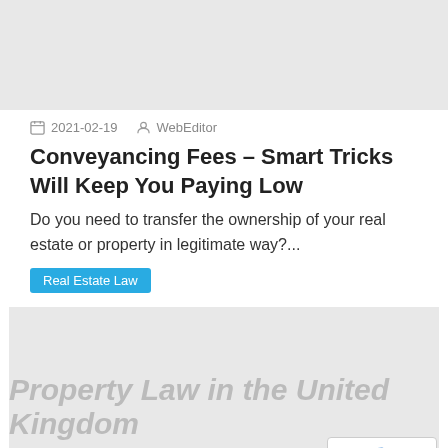[Figure (photo): Gray placeholder image at top of page]
2021-02-19  WebEditor
Conveyancing Fees – Smart Tricks Will Keep You Paying Low
Do you need to transfer the ownership of your real estate or property in legitimate way?...
Real Estate Law
[Figure (photo): Gray placeholder image with watermark text: Property Law in the United Kingdom]
2021-02-16  WebEditor
Property Law in the United Kingdom